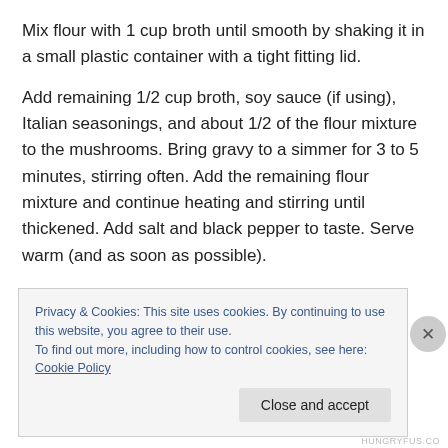Mix flour with 1 cup broth until smooth by shaking it in a small plastic container with a tight fitting lid.
Add remaining 1/2 cup broth, soy sauce (if using), Italian seasonings, and about 1/2 of the flour mixture to the mushrooms. Bring gravy to a simmer for 3 to 5 minutes, stirring often. Add the remaining flour mixture and continue heating and stirring until thickened. Add salt and black pepper to taste. Serve warm (and as soon as possible).
Stored in a covered container in the refrigerator, leftover
Privacy & Cookies: This site uses cookies. By continuing to use this website, you agree to their use.
To find out more, including how to control cookies, see here: Cookie Policy